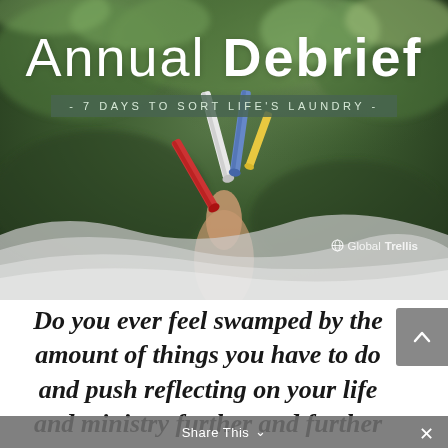[Figure (photo): Hero image with blurred green trees/foliage background and colorful clothespins (red, white, blue) held in a hand. Wavy grey overlay at the bottom of the image.]
Annual Debrief
- 7 DAYS TO SORT LIFE'S LAUNDRY -
Global Trellis
Do you ever feel swamped by the amount of things you have to do and push reflecting on your life and ministry further and further down the list?
Share This ∨